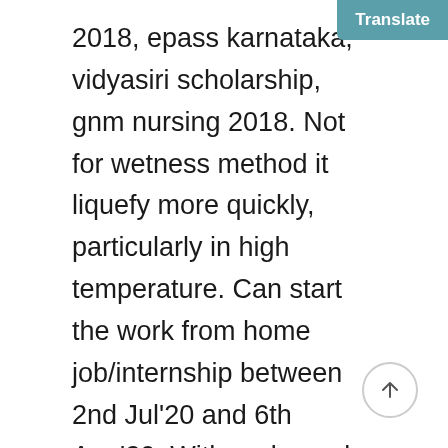2018, epass karnataka, vidyasiri scholarship, gnm nursing 2018. Not for wetness method it liquefy more quickly, particularly in high temperature. Can start the work from home job/internship between 2nd Jul'20 and 6th Aug'20. With perks and other benefits too. Yet only two new antibiotics were approved by the U. But just as the two are settling into a groove, a new transforming hero shows up on the scene. I'm looking at getting the Mega Shifter now. Abhishek Soni is a Chartered Accountant by profession and entrepreneur by passion.